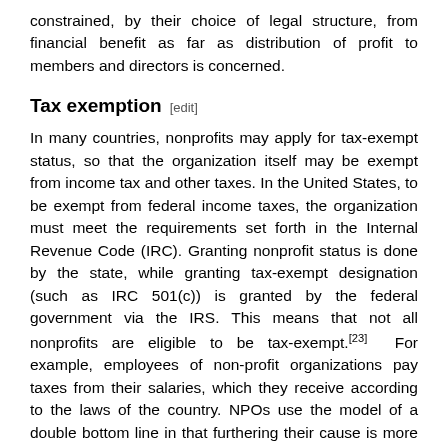constrained, by their choice of legal structure, from financial benefit as far as distribution of profit to members and directors is concerned.
Tax exemption [edit]
In many countries, nonprofits may apply for tax-exempt status, so that the organization itself may be exempt from income tax and other taxes. In the United States, to be exempt from federal income taxes, the organization must meet the requirements set forth in the Internal Revenue Code (IRC). Granting nonprofit status is done by the state, while granting tax-exempt designation (such as IRC 501(c)) is granted by the federal government via the IRS. This means that not all nonprofits are eligible to be tax-exempt.[23] For example, employees of non-profit organizations pay taxes from their salaries, which they receive according to the laws of the country. NPOs use the model of a double bottom line in that furthering their cause is more important than making a profit, though both are needed to ensure the organization's sustainability.[24] [25] An advantage of non-profit organisations registered in the UK is that they benefit from some